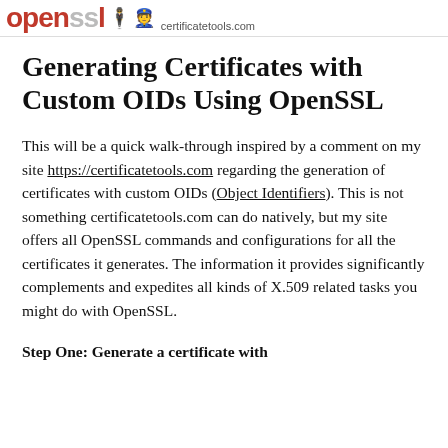openssl [icons] certificatetools.com
Generating Certificates with Custom OIDs Using OpenSSL
This will be a quick walk-through inspired by a comment on my site https://certificatetools.com regarding the generation of certificates with custom OIDs (Object Identifiers). This is not something certificatetools.com can do natively, but my site offers all OpenSSL commands and configurations for all the certificates it generates. The information it provides significantly complements and expedites all kinds of X.509 related tasks you might do with OpenSSL.
Step One: Generate a certificate with